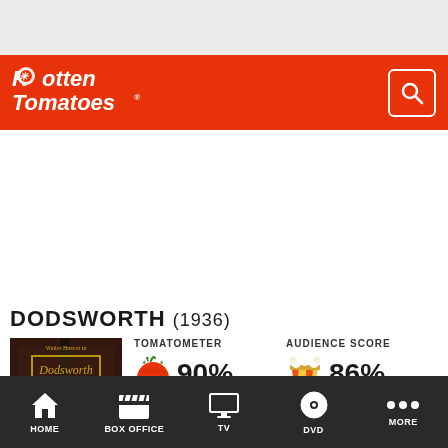[Figure (logo): Rotten Tomatoes logo in white italic text on red background header bar with search icon]
DODSWORTH (1936)
[Figure (photo): Movie poster for Dodsworth (1936) with dark background and title text]
TOMATOMETER  90%
AUDIENCE SCORE  86%
Critic Consensus: No consensus yet
HOME  BOX OFFICE  TV  DVD  MORE